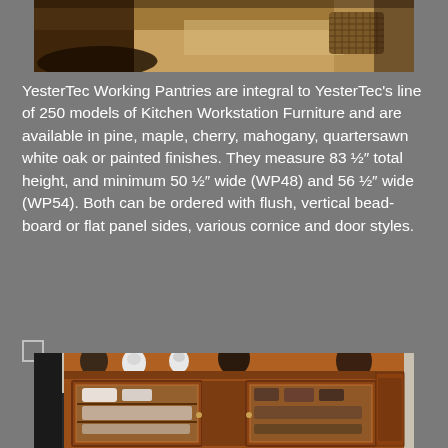[Figure (photo): Top portion of a kitchen/pantry photo showing wooden surfaces, shadows, and a woven basket on a light wood counter]
YesterTec Working Pantries are integral to YesterTec's line of 250 models of Kitchen Workstation Furniture and are available in pine, maple, cherry, mahogany, quartersawn white oak or painted finishes. They measure 83 ½″ total height, and minimum 50 ½″ wide (WP48) and 56 ½″ wide (WP54). Both can be ordered with flush, vertical bead-board or flat panel sides, various cornice and door styles.
[Figure (photo): A large cherry wood kitchen pantry/hutch cabinet with glass doors displaying white ceramic dishes, pottery, and decorative owls on top]